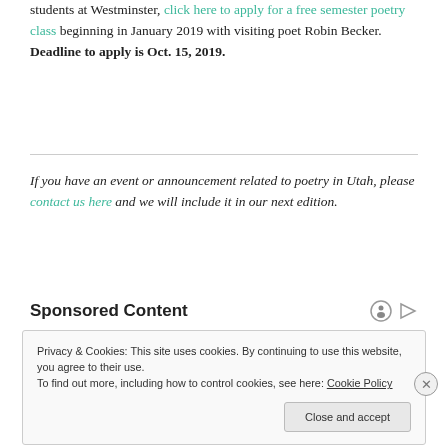students at Westminster, click here to apply for a free semester poetry class beginning in January 2019 with visiting poet Robin Becker. Deadline to apply is Oct. 15, 2019.
If you have an event or announcement related to poetry in Utah, please contact us here and we will include it in our next edition.
Sponsored Content
Privacy & Cookies: This site uses cookies. By continuing to use this website, you agree to their use. To find out more, including how to control cookies, see here: Cookie Policy